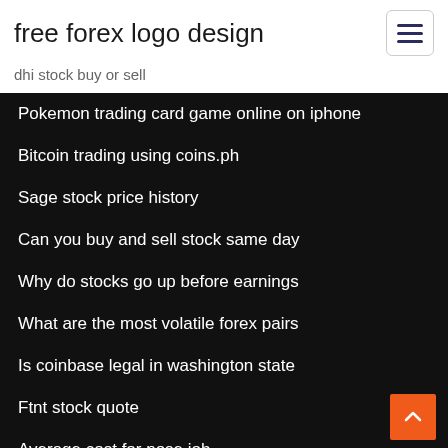free forex logo design
dhi stock buy or sell
Pokemon trading card game online on iphone
Bitcoin trading using coins.ph
Sage stock price history
Can you buy and sell stock same day
Why do stocks go up before earnings
What are the most volatile forex pairs
Is coinbase legal in washington state
Ftnt stock quote
Average cost for nose job
Blackline stock forecast